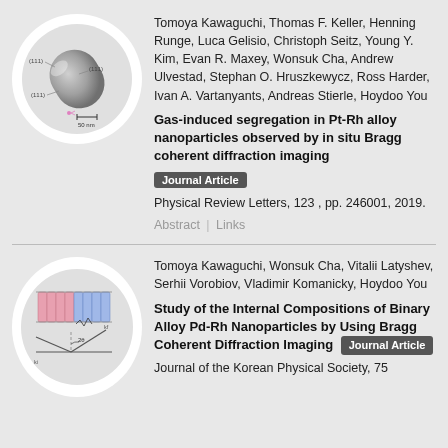[Figure (photo): Circular thumbnail showing a 3D rendered silver/gray pill-shaped nanoparticle with (111) facet labels and a 50nm scale bar]
Tomoya Kawaguchi, Thomas F. Keller, Henning Runge, Luca Gelisio, Christoph Seitz, Young Y. Kim, Evan R. Maxey, Wonsuk Cha, Andrew Ulvestad, Stephan O. Hruszkewycz, Ross Harder, Ivan A. Vartanyants, Andreas Stierle, Hoydoo You
Gas-induced segregation in Pt-Rh alloy nanoparticles observed by in situ Bragg coherent diffraction imaging
Journal Article
Physical Review Letters, 123 , pp. 246001, 2019.
Abstract | Links
[Figure (illustration): Circular thumbnail showing a diagram of pink and blue cylindrical rods on a surface with a diffraction geometry schematic below]
Tomoya Kawaguchi, Wonsuk Cha, Vitalii Latyshev, Serhii Vorobiov, Vladimir Komanicky, Hoydoo You
Study of the Internal Compositions of Binary Alloy Pd-Rh Nanoparticles by Using Bragg Coherent Diffraction Imaging
Journal Article
Journal of the Korean Physical Society, 75